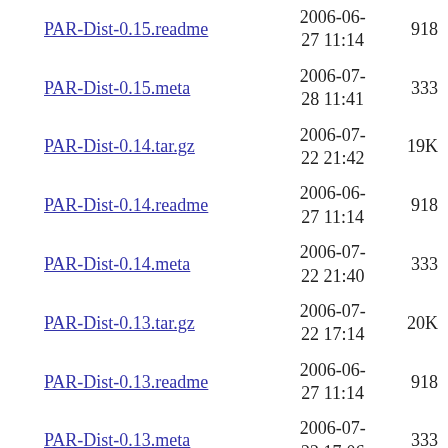PAR-Dist-0.15.readme | 2006-06-27 11:14 | 918
PAR-Dist-0.15.meta | 2006-07-28 11:41 | 333
PAR-Dist-0.14.tar.gz | 2006-07-22 21:42 | 19K
PAR-Dist-0.14.readme | 2006-06-27 11:14 | 918
PAR-Dist-0.14.meta | 2006-07-22 21:40 | 333
PAR-Dist-0.13.tar.gz | 2006-07-22 17:14 | 20K
PAR-Dist-0.13.readme | 2006-06-27 11:14 | 918
PAR-Dist-0.13.meta | 2006-07-22 17:06 | 333
PAR-Dist-0.12.tar.gz | 2006-07-21 14:59 | 20K
PAR-Dist-0.12.readme | 2006-06-27 11:14 | 918
PAR-Dist-0.12.meta | 2006-06-27 11:14 | 249
PAR-Dist-0.11.tar.gz | 2006-07- | 20K